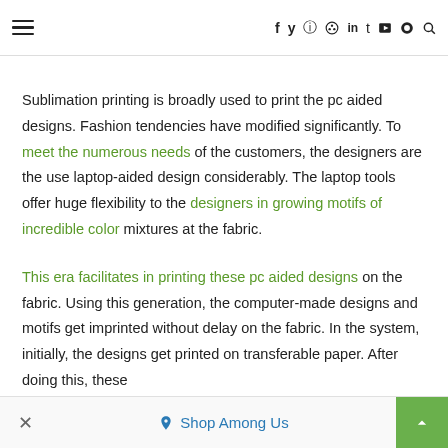≡ f y © ℗ in t ▶ ⊙ 🔍
Sublimation printing is broadly used to print the pc aided designs. Fashion tendencies have modified significantly. To meet the numerous needs of the customers, the designers are the use laptop-aided design considerably. The laptop tools offer huge flexibility to the designers in growing motifs of incredible color mixtures at the fabric.
This era facilitates in printing these pc aided designs on the fabric. Using this generation, the computer-made designs and motifs get imprinted without delay on the fabric. In the system, initially, the designs get printed on transferable paper. After doing this, these
× 🏷 Shop Among Us ▲